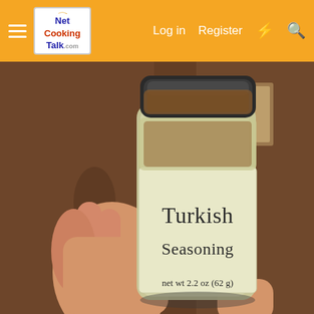Net Cooking Talk - Log in  Register
[Figure (photo): A hand holding a spice jar labeled 'Turkish Seasoning, net wt 2.2 oz (62 g)' with a cream-colored label and dark cap, against a warm brown background.]